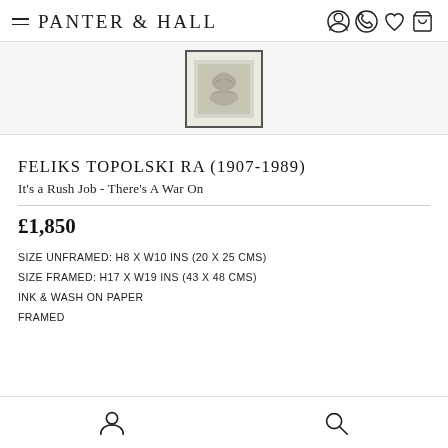PANTER & HALL
[Figure (photo): Small framed artwork thumbnail showing an ink and wash drawing, displayed centered at top of product page]
FELIKS TOPOLSKI RA (1907-1989)
It's a Rush Job - There's A War On
£1,850
SIZE UNFRAMED: H8 x W10 ins (20 x 25 cms)
SIZE FRAMED: H17 x W19 ins (43 x 48 cms)
INK & WASH ON PAPER
FRAMED
User icon and Search icon